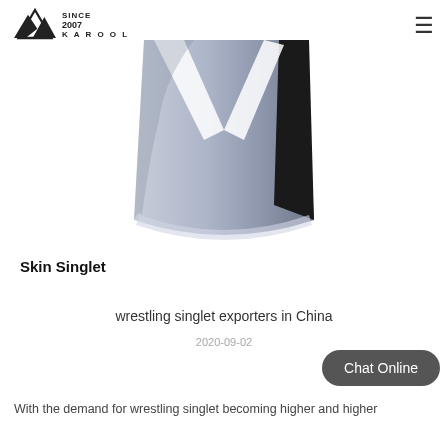KAROOL SINCE 2007
[Figure (photo): Close-up photo of a wrestling singlet with grey, white, and black design panels showing an X-cross pattern]
Skin Singlet
wrestling singlet exporters in China
2020-09-02
Chat Online
With the demand for wrestling singlet becoming higher and higher